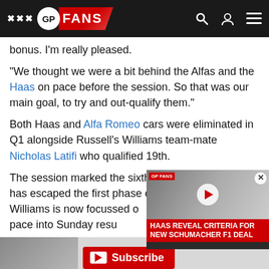GP FANS
bonus. I'm really pleased.
"We thought we were a bit behind the Alfas and the Haas on pace before the session. So that was our main goal, to try and out-qualify them."
Both Haas and Alfa Romeo cars were eliminated in Q1 alongside Russell's Williams team-mate Nicholas Latifi who qualified 19th.
The session marked the sixth occasion that Russell has escaped the first phase of quali... says Williams is now focussed o... Saturday pace into Sunday resu...
[Figure (screenshot): Video thumbnail showing Haas team personnel with text overlay: HAAS REVEAL CRITERIA FOR NEW SCHUMACHER F1 DEAL]
He added: "The last couple of weekends we have been